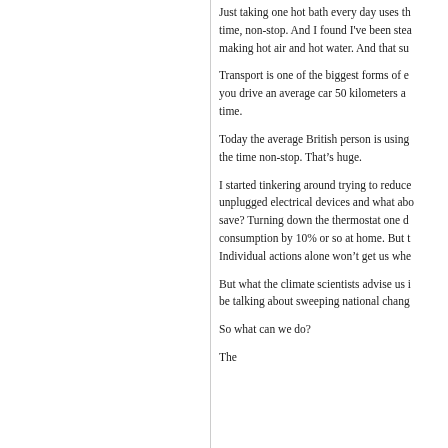Just taking one hot bath every day uses th... time, non-stop. And I found I've been ste... making hot air and hot water. And that su...
Transport is one of the biggest forms of e... you drive an average car 50 kilometers a ... time.
Today the average British person is using ... the time non-stop. That's huge.
I started tinkering around trying to reduce... unplugged electrical devices and what ab... save? Turning down the thermostat one d... consumption by 10% or so at home. But t... Individual actions alone won't get us whe...
But what the climate scientists advise us i... be talking about sweeping national chang...
So what can we do?
The...